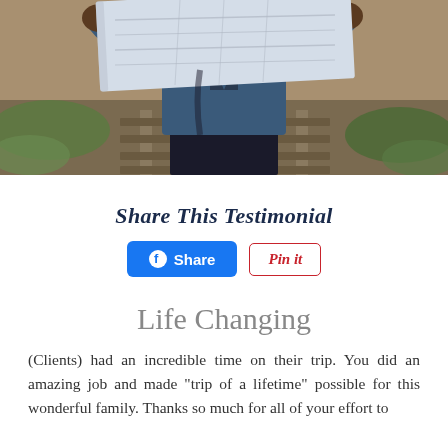[Figure (photo): Person in denim jacket holding and reading a paper map, standing on railroad tracks, viewed from torso level]
Share This Testimonial
[Figure (other): Facebook Share button and Pinterest Pin it button]
Life Changing
(Clients) had an incredible time on their trip. You did an amazing job and made “trip of a lifetime” possible for this wonderful family. Thanks so much for all of your effort to